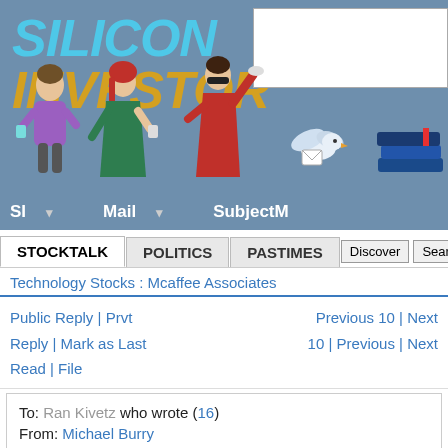[Figure (screenshot): Silicon Investor website banner with logo, illustrated figures, navigation links for SI, Mail, SubjectM, and a white search input box]
SILICON INVESTOR
STOCKTALK | POLITICS | PASTIMES | Discover | Search
Technology Stocks : Mcaffee Associates
Public Reply | Prvt Reply | Mark as Last Read | File
Previous 10 | Next 10 | Previous | Next
To: Ran Kivetz who wrote (16)
From: Michael Burry

Doubts re: product integration and concerns over insider selli